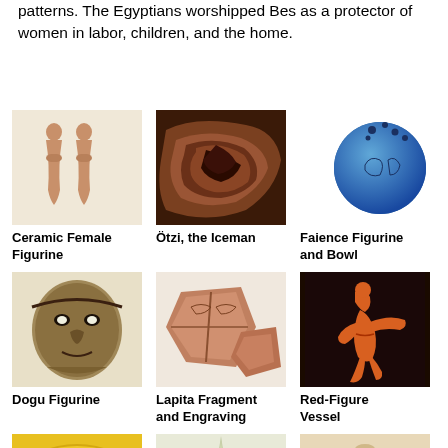patterns. The Egyptians worshipped Bes as a protector of women in labor, children, and the home.
[Figure (photo): Ceramic Female Figurine - two small terracotta female figurines front view]
Ceramic Female Figurine
[Figure (photo): Ötzi, the Iceman - close up of mummified arm showing preserved brown skin tissue]
Ötzi, the Iceman
[Figure (photo): Faience Figurine and Bowl - blue spherical faience object with engraved figures]
Faience Figurine and Bowl
[Figure (photo): Dogu Figurine - dark carved face mask with detailed features]
Dogu Figurine
[Figure (photo): Lapita Fragment and Engraving - reddish brown ceramic sherds with impressed patterns]
Lapita Fragment and Engraving
[Figure (photo): Red-Figure Vessel - black background with orange-red figure of a person in motion]
Red-Figure Vessel
[Figure (photo): Bottom row first item - golden metallic artifact partially visible]
[Figure (photo): Bottom row second item - pointed artifact on light background]
[Figure (photo): Bottom row third item - small vessel artifact]